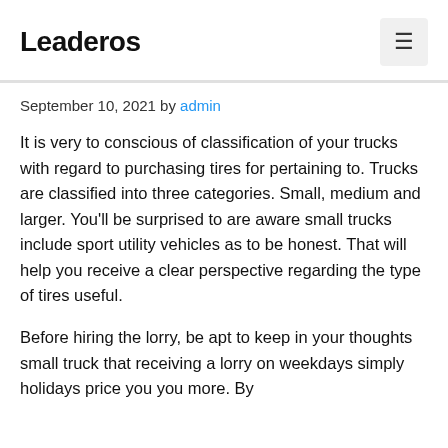Leaderos
September 10, 2021 by admin
It is very to conscious of classification of your trucks with regard to purchasing tires for pertaining to. Trucks are classified into three categories. Small, medium and larger. You'll be surprised to are aware small trucks include sport utility vehicles as to be honest. That will help you receive a clear perspective regarding the type of tires useful.
Before hiring the lorry, be apt to keep in your thoughts small truck that receiving a lorry on weekdays simply holidays price you you more. By